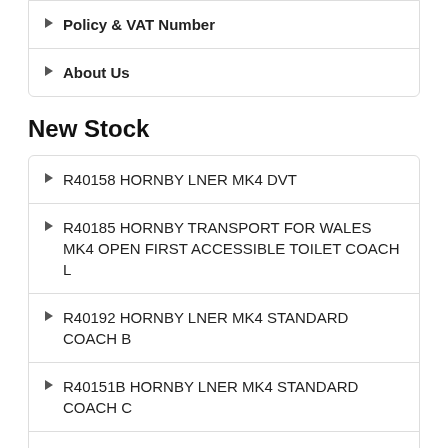Policy & VAT Number
About Us
New Stock
R40158 HORNBY LNER MK4 DVT
R40185 HORNBY TRANSPORT FOR WALES MK4 OPEN FIRST ACCESSIBLE TOILET COACH L
R40192 HORNBY LNER MK4 STANDARD COACH B
R40151B HORNBY LNER MK4 STANDARD COACH C
R40151A HORNBY LNER MK4 STANDARD COACH E
R40151 HORNBY LNER MK4 STANDARD COACH D